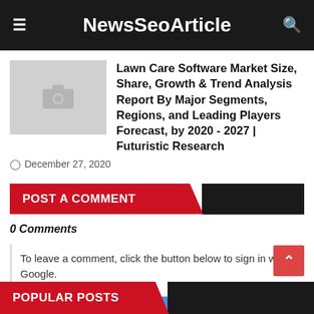NewsSeoArticle
[Figure (photo): Placeholder thumbnail image with camera icon]
Lawn Care Software Market Size, Share, Growth & Trend Analysis Report By Major Segments, Regions, and Leading Players Forecast, by 2020 - 2027 | Futuristic Research
December 27, 2020
POST A COMMENT
0 Comments
To leave a comment, click the button below to sign in with Google.
SIGN IN WITH GOOGLE
POPULAR POSTS